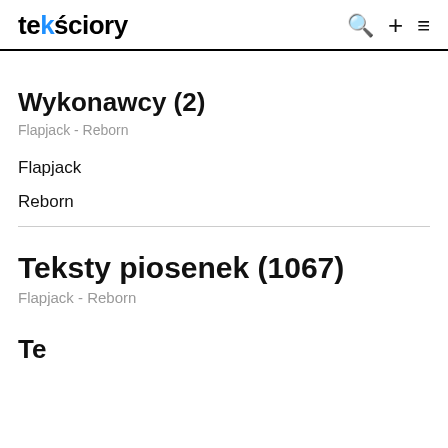tekściory
Wykonawcy (2)
Flapjack - Reborn
Flapjack
Reborn
Teksty piosenek (1067)
Flapjack - Reborn